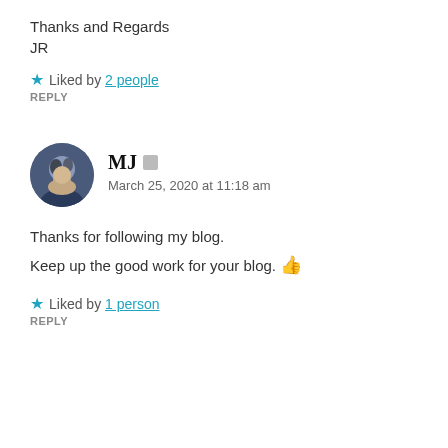Thanks and Regards
JR
★ Liked by 2 people
REPLY
MJ  March 25, 2020 at 11:18 am
Thanks for following my blog.
Keep up the good work for your blog. 👍
★ Liked by 1 person
REPLY